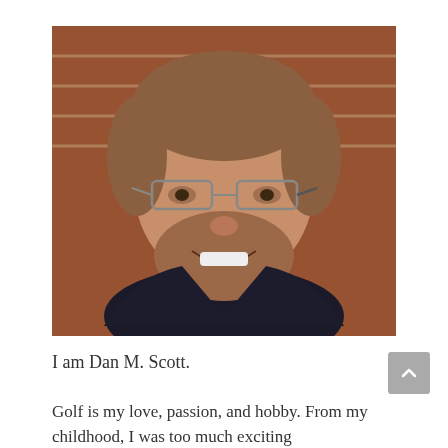[Figure (photo): A man with glasses and a beard smiling, in front of a brick wall background.]
I am Dan M. Scott.
Golf is my love, passion, and hobby. From my childhood, I was too much exciting